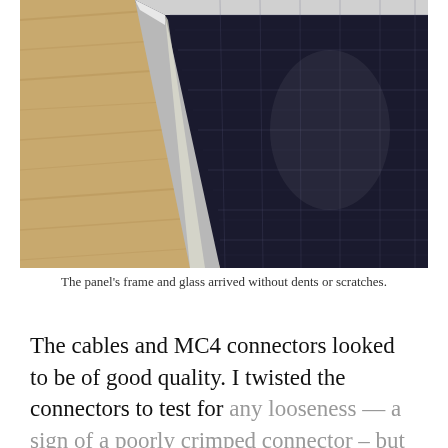[Figure (photo): Close-up photo of a solar panel corner resting on a wooden surface. The panel has a silver aluminum frame and dark photovoltaic cells with a grid pattern of white lines. The panel is tilted at an angle showing both the surface and the edge/side.]
The panel's frame and glass arrived without dents or scratches.
The cables and MC4 connectors looked to be of good quality. I twisted the connectors to test for any looseness — a sign of a poorly crimped connector – but found none.